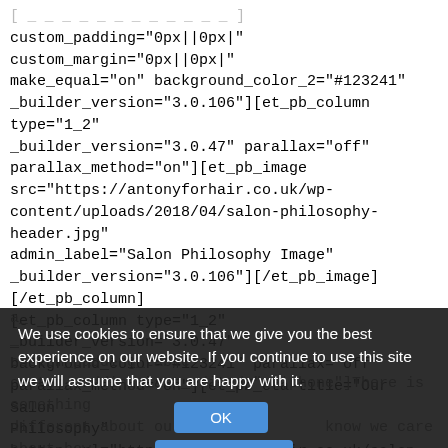[ _ _ _ _ _ _ _ _ _ _ _ _ _ _ ] custom_padding="0px||0px|" custom_margin="0px||0px|" make_equal="on" background_color_2="#123241" _builder_version="3.0.106"][et_pb_column type="1_2" _builder_version="3.0.47" parallax="off" parallax_method="on"][et_pb_image src="https://antonyforhair.co.uk/wp-content/uploads/2018/04/salon-philosophy-header.jpg" admin_label="Salon Philosophy Image" _builder_version="3.0.106"][/et_pb_image][/et_pb_column][et_pb_column type="1_2" _builder_version="3.0.47" background_color="#123241" parallax="off" parallax_method="on"][et_pb_cta title="Our Salon Philosophy" button_url="https://antonyforhair.co.uk/salon-philosophy-365/" button_text="Read more"
We use cookies to ensure that we give you the best experience on our website. If you continue to use this site we will assume that you are happy with it.
custom_padding_table... custom_padding_last_edited="on|phone"]There is something different about our clients. They know we care about how their hair looks and what it does for them. They know we expect them to care about their hair too. If they wanted